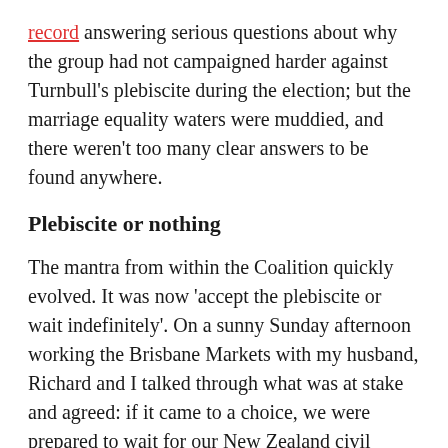record answering serious questions about why the group had not campaigned harder against Turnbull's plebiscite during the election; but the marriage equality waters were muddied, and there weren't too many clear answers to be found anywhere.
Plebiscite or nothing
The mantra from within the Coalition quickly evolved. It was now 'accept the plebiscite or wait indefinitely'. On a sunny Sunday afternoon working the Brisbane Markets with my husband, Richard and I talked through what was at stake and agreed: if it came to a choice, we were prepared to wait for our New Zealand civil union to be recognised in our home country.
We also knew what it was to knock on doors asking for our human rights, having petitioned our region to gauge the mood. Our results showed the electorate of Bowman in South East Queensland was overwhelmingly behind marriage equality, but the process was painful. The question brought out the first